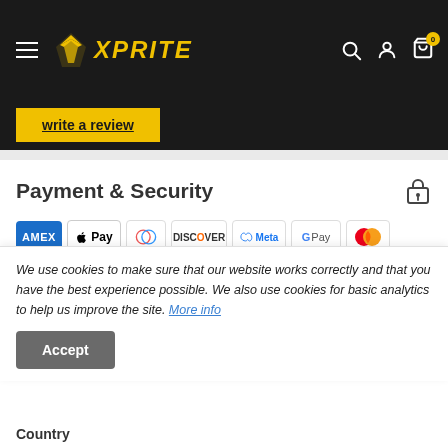Xprite — navigation bar with hamburger menu, logo, search, account, cart (0)
Write a review
Payment & Security
[Figure (other): Payment method logos: AMEX, Apple Pay, Diners Club, Discover, Meta Pay, Google Pay, Mastercard, OPay, Visa]
Your payment information is processed securely. We do not store credit card details nor have access to your credit card information.
We use cookies to make sure that our website works correctly and that you have the best experience possible. We also use cookies for basic analytics to help us improve the site. More info
Accept
Country